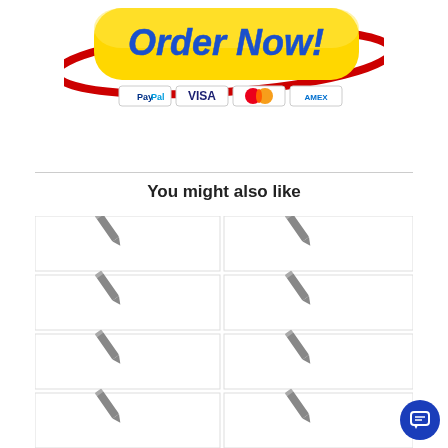[Figure (illustration): Yellow 'Order Now!' button with red swoosh graphic and payment method icons (PayPal, VISA, MasterCard, AMEX) below it]
You might also like
[Figure (infographic): 2x4 grid of placeholder content cards each showing a pencil/edit icon]
[Figure (other): Dark blue circular chat button in bottom-right corner with chat icon]